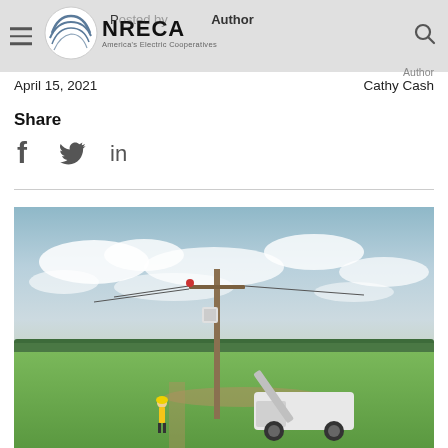Posted by Author | April 15, 2021 | Cathy Cash | NRECA – America's Electric Cooperatives
April 15, 2021
Author
Cathy Cash
Share
[Figure (photo): A bucket truck with an extended boom working on a utility pole in an open green field. A worker in a hard hat stands nearby. Cloudy sky in the background with a tree line on the horizon.]